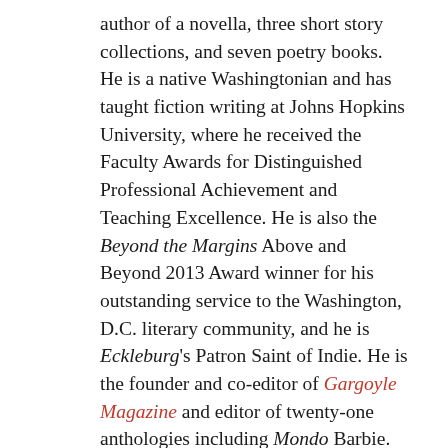author of a novella, three short story collections, and seven poetry books. He is a native Washingtonian and has taught fiction writing at Johns Hopkins University, where he received the Faculty Awards for Distinguished Professional Achievement and Teaching Excellence. He is also the Beyond the Margins Above and Beyond 2013 Award winner for his outstanding service to the Washington, D.C. literary community, and he is Eckleburg's Patron Saint of Indie. He is the founder and co-editor of Gargoyle Magazine and editor of twenty-one anthologies including Mondo Barbie. His collection of short stories, Blue Suburban Skies, is out from Main Street Rag Press. Read "Maraschino Cherries," an excerpt from his collection, Speed Enforced by Aircraft (The Broadkill River Press, 2012). His Newest book is The Richard Peabody Reader is a compendium of the author's best poems, stories, and drama available from ASP.